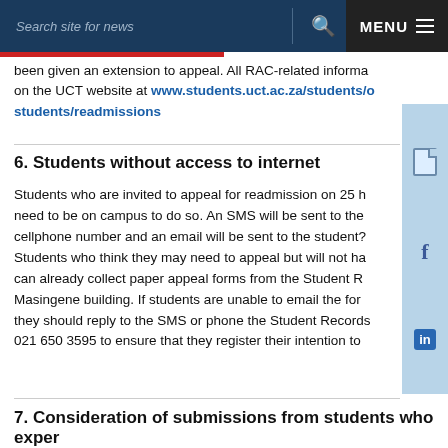Search site for news | MENU
been given an extension to appeal. All RAC-related information on the UCT website at www.students.uct.ac.za/students/o/students/readmissions
6. Students without access to internet
Students who are invited to appeal for readmission on 25 h need to be on campus to do so. An SMS will be sent to the cellphone number and an email will be sent to the student? Students who think they may need to appeal but will not ha can already collect paper appeal forms from the Student R Masingene building. If students are unable to email the for they should reply to the SMS or phone the Student Records 021 650 3595 to ensure that they register their intention to
7. Consideration of submissions from students who exper